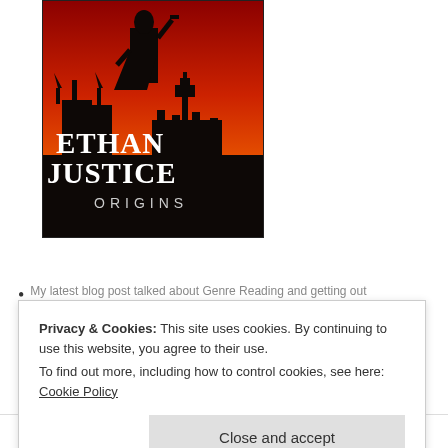[Figure (illustration): Book cover of 'Ethan Justice: Origins' showing a silhouetted figure holding a gun against a red sky background with London skyline (Big Ben and Gothic architecture). Large bold white serif text reads 'ETHAN JUSTICE ORIGINS'.]
My latest blog post talked about Genre Reading and getting out...
Privacy & Cookies: This site uses cookies. By continuing to use this website, you agree to their use.
To find out more, including how to control cookies, see here: Cookie Policy
Close and accept
with it and when you are finally done you realise you've had a